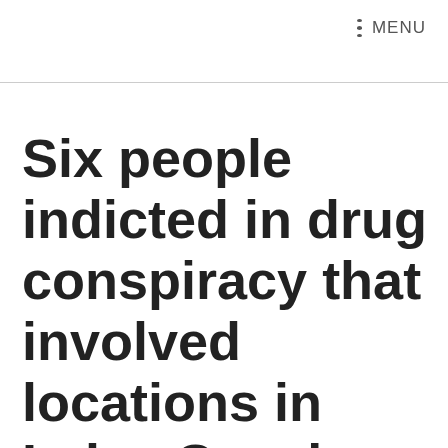MENU
Six people indicted in drug conspiracy that involved locations in Lake, Cuyahoga counties